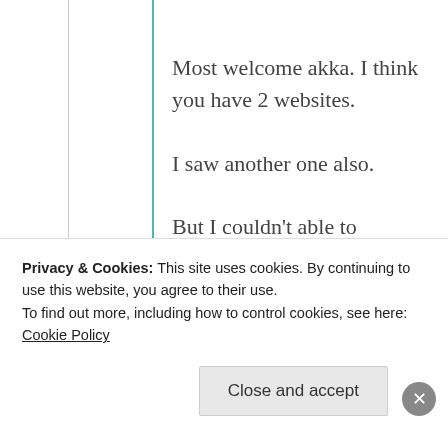Most welcome akka. I think you have 2 websites.
I saw another one also.
But I couldn't able to comment there.
★ Liked by 3 people
Privacy & Cookies: This site uses cookies. By continuing to use this website, you agree to their use.
To find out more, including how to control cookies, see here: Cookie Policy
Close and accept